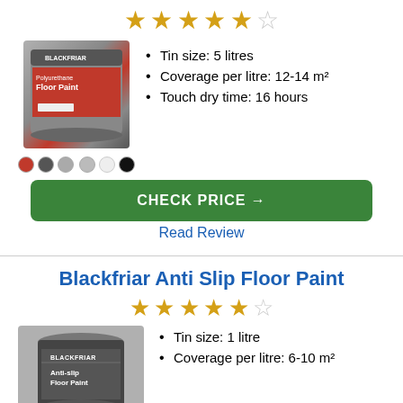[Figure (infographic): 5-star rating display, approximately 4.5 stars filled in gold]
[Figure (photo): Blackfriar Polyurethane Floor Paint tin with color swatches below showing red, dark grey, light grey, silver, white, black]
Tin size: 5 litres
Coverage per litre: 12-14 m²
Touch dry time: 16 hours
CHECK PRICE →
Read Review
Blackfriar Anti Slip Floor Paint
[Figure (infographic): 5-star rating display, approximately 4.5 stars filled in gold]
[Figure (photo): Blackfriar Anti-slip Floor Paint tin in grey/dark packaging]
Tin size: 1 litre
Coverage per litre: 6-10 m²